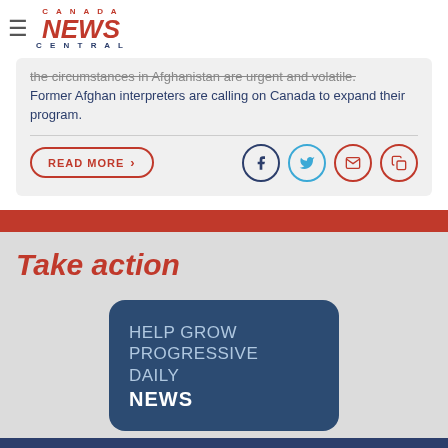[Figure (logo): Canada News Central logo with hamburger menu icon]
the circumstances in Afghanistan are urgent and volatile. Former Afghan interpreters are calling on Canada to expand their program.
READ MORE >
[Figure (infographic): Social sharing icons: Facebook, Twitter, Email, Copy]
Take action
[Figure (infographic): Dark blue card: HELP GROW PROGRESSIVE DAILY NEWS]